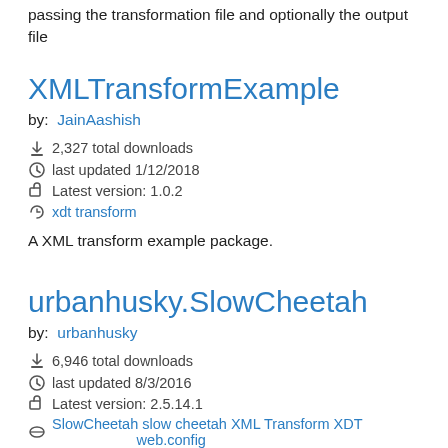passing the transformation file and optionally the output file
XMLTransformExample
by: JainAashish
2,327 total downloads
last updated 1/12/2018
Latest version: 1.0.2
xdt transform
A XML transform example package.
urbanhusky.SlowCheetah
by: urbanhusky
6,946 total downloads
last updated 8/3/2016
Latest version: 2.5.14.1
SlowCheetah slow cheetah XML Transform XDT web.config
Fork of SlowCheetah with additional per-user (and configuration) transformations. For per-user transform,